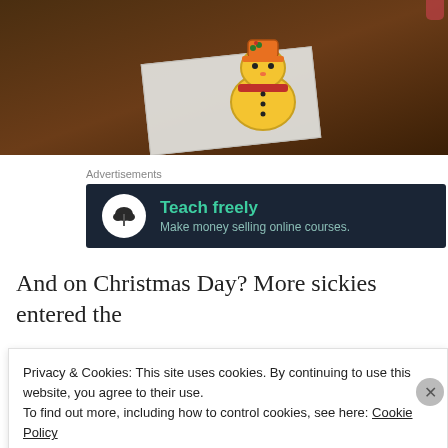[Figure (photo): A decorated snowman-shaped cookie on a white napkin, placed on a dark wooden table. The cookie has colorful icing with a chef hat design.]
Advertisements
[Figure (infographic): Advertisement banner with dark navy background. Shows a white circle icon with a bonsai tree silhouette. Text reads 'Teach freely' in teal bold font and 'Make money selling online courses.' in lighter teal.]
And on Christmas Day? More sickies entered the
Privacy & Cookies: This site uses cookies. By continuing to use this website, you agree to their use.
To find out more, including how to control cookies, see here: Cookie Policy
Close and accept